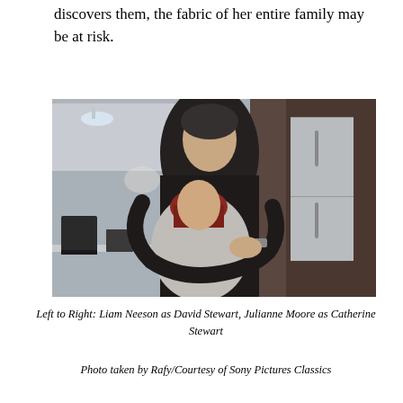discovers them, the fabric of her entire family may be at risk.
[Figure (photo): A man in a dark sweater embraces a woman with red hair from behind in a kitchen setting. The man looks to the side with a serious expression. A stainless steel refrigerator is visible in the background.]
Left to Right: Liam Neeson as David Stewart, Julianne Moore as Catherine Stewart
Photo taken by Rafy/Courtesy of Sony Pictures Classics